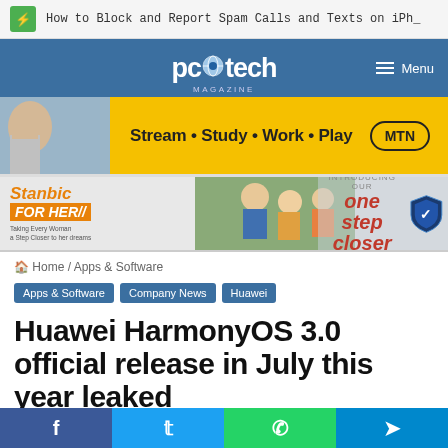How to Block and Report Spam Calls and Texts on iPh…
[Figure (screenshot): PC Tech Magazine logo with globe icon on blue navigation bar with Menu hamburger icon]
[Figure (infographic): MTN advertisement banner: Stream • Study • Work • Play with MTN logo badge on yellow background]
[Figure (infographic): Stanbic Bank FOR HER advertisement with women photo and 'one step closer' text and shield logo]
🏠 Home / Apps & Software
Apps & Software
Company News
Huawei
Huawei HarmonyOS 3.0 official release in July this year leaked